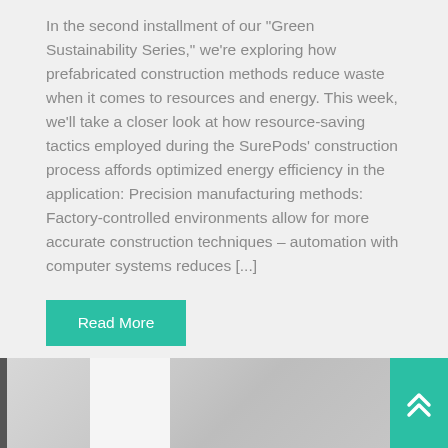In the second installment of our "Green Sustainability Series," we're exploring how prefabricated construction methods reduce waste when it comes to resources and energy. This week, we'll take a closer look at how resource-saving tactics employed during the SurePods' construction process affords optimized energy efficiency in the application: Precision manufacturing methods: Factory-controlled environments allow for more accurate construction techniques – automation with computer systems reduces [...]
Read More
[Figure (photo): Partial view of a modern interior with white panels and clean architectural elements, shown at the bottom of the page. A teal box with double upward chevron arrows appears in the bottom-right corner.]